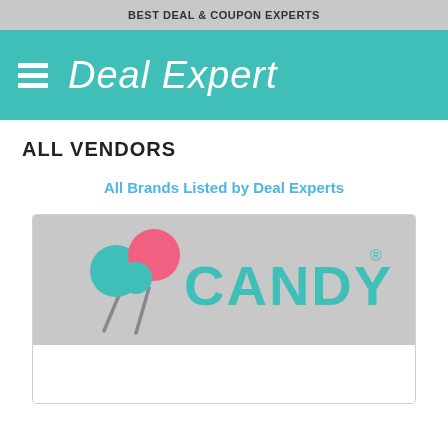BEST DEAL & COUPON EXPERTS
Deal Expert
ALL VENDORS
All Brands Listed by Deal Experts
[Figure (logo): Candy Club logo with lollipop graphics and teal text reading CANDY CLUB with registered trademark symbol]